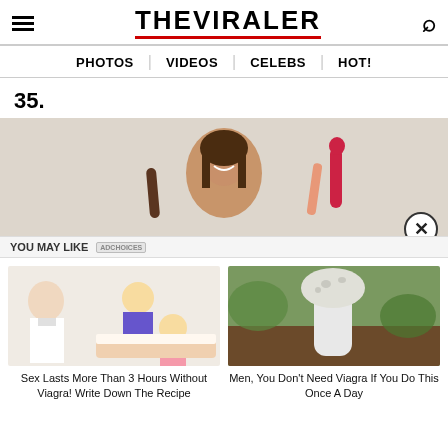THE VIRALER
PHOTOS | VIDEOS | CELEBS | HOT!
35.
[Figure (photo): Woman smiling holding adult toys against white wall background]
YOU MAY LIKE
[Figure (photo): Promotional image: doctor and cartoon couple illustration for Viagra article]
Sex Lasts More Than 3 Hours Without Viagra! Write Down The Recipe
[Figure (photo): Promotional image: white mushroom growing in dirt]
Men, You Don't Need Viagra If You Do This Once A Day